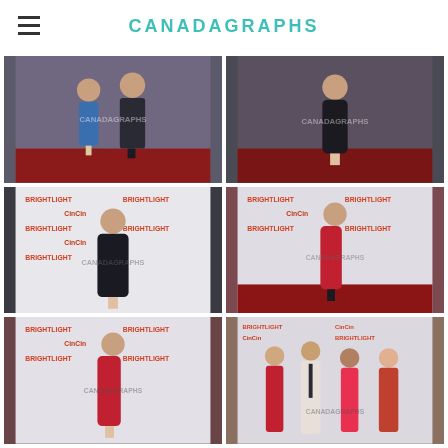CANADAGRAPHS
[Figure (photo): Two people posing on a red carpet with a step-and-repeat backdrop. A woman in a blue dress and a man in a dark suit.]
[Figure (photo): A woman in a black dress posing alone on a red carpet in front of a step-and-repeat backdrop.]
[Figure (photo): A woman in a black long-sleeve dress posing in front of a BrightLight / CinCin step-and-repeat backdrop.]
[Figure (photo): A woman in a red dress posing on a red carpet in front of a BrightLight / CinCin step-and-repeat backdrop.]
[Figure (photo): A woman in a red dress posing in front of a BrightLight / CinCin step-and-repeat backdrop.]
[Figure (photo): Four people posing together on a red carpet — three women and one man — in front of a CinCin / BrightLight step-and-repeat backdrop.]